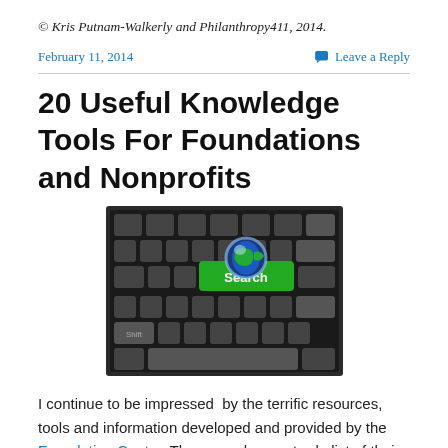© Kris Putnam-Walkerly and Philanthropy411, 2014.
February 11, 2014    Leave a Reply
20 Useful Knowledge Tools For Foundations and Nonprofits
[Figure (photo): A computer keyboard with a green 'Search' key featuring a glowing globe on top of it]
I continue to be impressed  by the terrific resources, tools and information developed and provided by the Foundation Center. They even have a to-do list of their...